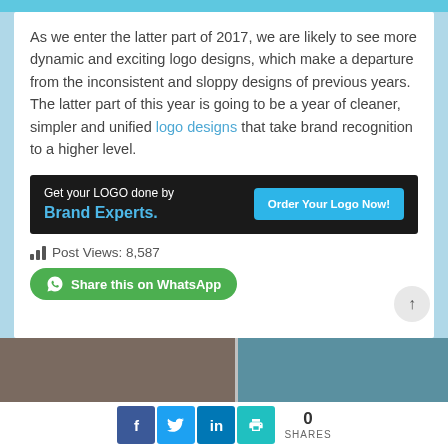As we enter the latter part of 2017, we are likely to see more dynamic and exciting logo designs, which make a departure from the inconsistent and sloppy designs of previous years. The latter part of this year is going to be a year of cleaner, simpler and unified logo designs that take brand recognition to a higher level.
[Figure (infographic): Dark banner ad: 'Get your LOGO done by Brand Experts.' with a cyan 'Order Your Logo Now!' button]
Post Views: 8,587
Share this on WhatsApp
[Figure (infographic): Social share bar with Facebook, Twitter, LinkedIn, print buttons and 0 SHARES count]